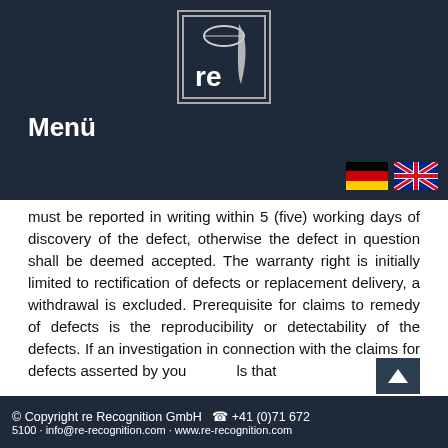[Figure (logo): re Recognition GmbH logo inside a rectangular border with eye-like symbol and stylized text 're']
Menü
must be reported in writing within 5 (five) working days of discovery of the defect, otherwise the defect in question shall be deemed accepted. The warranty right is initially limited to rectification of defects or replacement delivery, a withdrawal is excluded. Prerequisite for claims to remedy of defects is the reproducibility or detectability of the defects. If an investigation in connection with the claims for defects asserted by you reveals that
© Copyright re Recognition GmbH  ☎ +41 (0)71 672 5100 · info@re-recognition.com · www.re-recognition.com